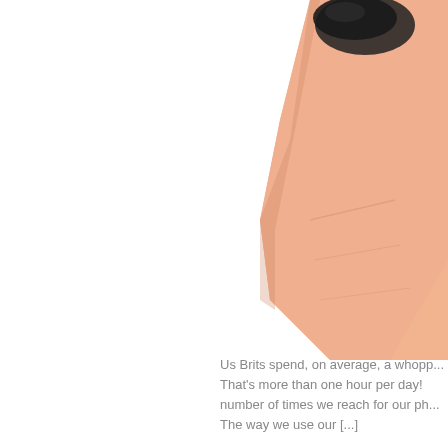[Figure (photo): Close-up of a person's hand/finger pointing upward against a white background, cropped so that the finger and part of the hand fill the right portion of the image area.]
Us Brits spend, on average, a whopp... That's more than one hour per day! number of times we reach for our ph... The way we use our [...]